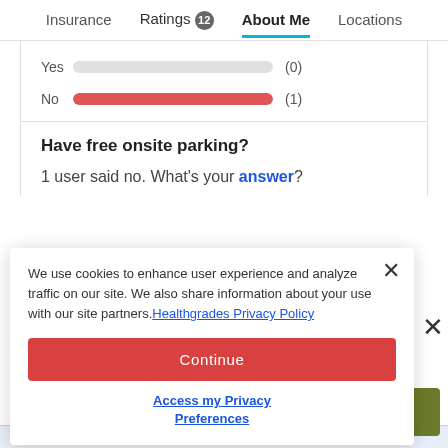Insurance  Ratings 12  About Me  Locations
[Figure (bar-chart): Yes/No responses]
Have free onsite parking?
1 user said no. What's your answer?
We use cookies to enhance user experience and analyze traffic on our site. We also share information about your use with our site partners. Healthgrades Privacy Policy
Continue
Access my Privacy Preferences